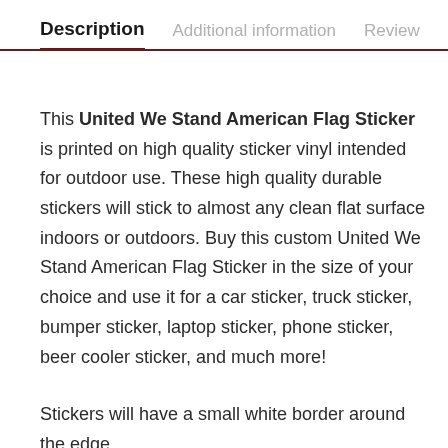Description | Additional information | Review
This United We Stand American Flag Sticker is printed on high quality sticker vinyl intended for outdoor use. These high quality durable stickers will stick to almost any clean flat surface indoors or outdoors. Buy this custom United We Stand American Flag Sticker in the size of your choice and use it for a car sticker, truck sticker, bumper sticker, laptop sticker, phone sticker, beer cooler sticker, and much more!
Stickers will have a small white border around the edge.